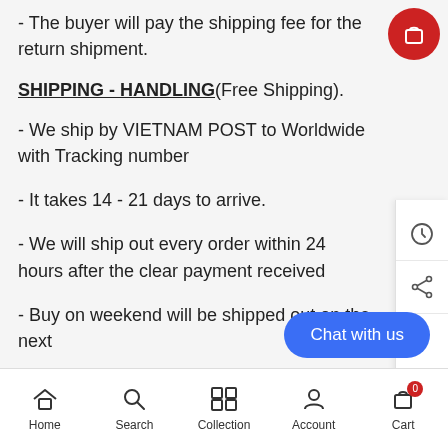- The buyer will pay the shipping fee for the return shipment.
SHIPPING - HANDLING(Free Shipping)
- We ship by VIETNAM POST to Worldwide with Tracking number
- It takes 14 - 21 days to arrive.
- We will ship out every order within 24 hours after the clear payment received
- Buy on weekend will be shipped out on the next Monday.
Home  Search  Collection  Account  Cart